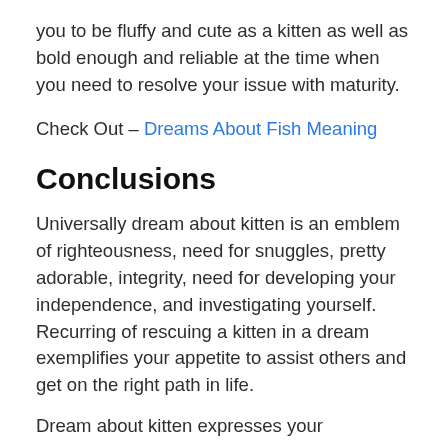you to be fluffy and cute as a kitten as well as bold enough and reliable at the time when you need to resolve your issue with maturity.
Check Out – Dreams About Fish Meaning
Conclusions
Universally dream about kitten is an emblem of righteousness, need for snuggles, pretty adorable, integrity, need for developing your independence, and investigating yourself. Recurring of rescuing a kitten in a dream exemplifies your appetite to assist others and get on the right path in life.
Dream about kitten expresses your